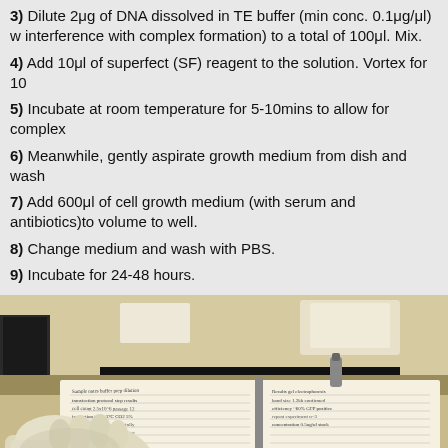3) Dilute 2μg of DNA dissolved in TE buffer (min conc. 0.1μg/μl) w interference with complex formation) to a total of 100μl. Mix.
4) Add 10μl of superfect (SF) reagent to the solution. Vortex for 10
5) Incubate at room temperature for 5-10mins to allow for complex
6) Meanwhile, gently aspirate growth medium from dish and wash
7) Add 600μl of cell growth medium (with serum and antibiotics)to volume to well.
8) Change medium and wash with PBS.
9) Incubate for 24-48 hours.
[Figure (photo): Laboratory photo showing a gloved hand turning pages of a lab notebook filled with handwritten notes, placed on a lab bench with equipment in the background.]